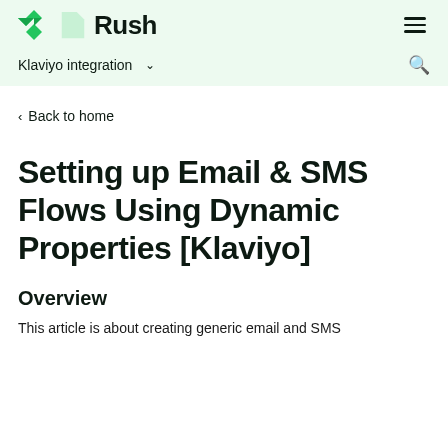Rush | Klaviyo integration
< Back to home
Setting up Email & SMS Flows Using Dynamic Properties [Klaviyo]
Overview
This article is about creating generic email and SMS